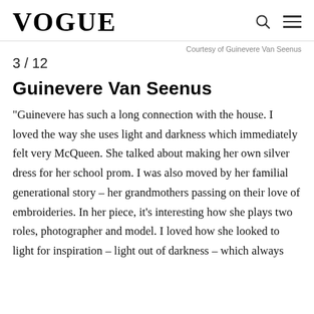VOGUE
Courtesy of Guinevere Van Seenus
3 / 12
Guinevere Van Seenus
“Guinevere has such a long connection with the house. I loved the way she uses light and darkness which immediately felt very McQueen. She talked about making her own silver dress for her school prom. I was also moved by her familial generational story – her grandmothers passing on their love of embroideries. In her piece, it’s interesting how she plays two roles, photographer and model. I loved how she looked to light for inspiration – light out of darkness – which always resonates with us here.